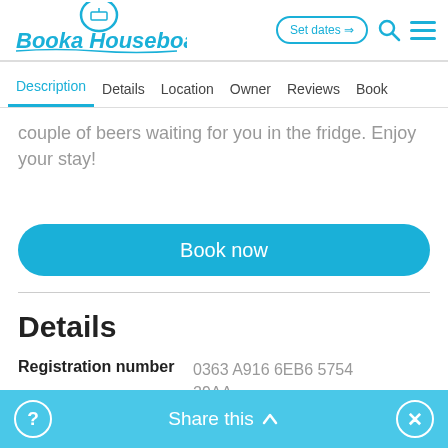[Figure (logo): Booka Houseboat logo with circular emblem and italic blue text]
Description  Details  Location  Owner  Reviews  Book
couple of beers waiting for you in the fridge. Enjoy your stay!
Book now
Details
Registration number  0363 A916 6EB6 5754 29AA
Share this